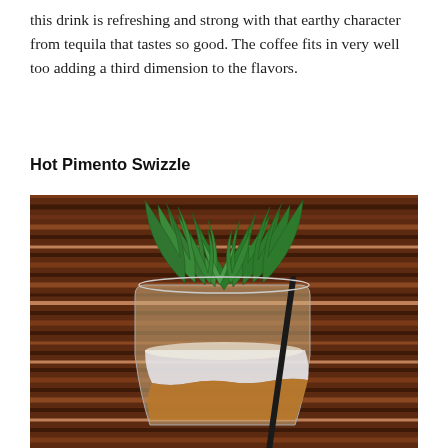this drink is refreshing and strong with that earthy character from tequila that tastes so good. The coffee fits in very well too adding a third dimension to the flavors.
Hot Pimento Swizzle
[Figure (photo): A cocktail glass filled with a brown drink and crushed ice, topped with a large bunch of fresh green mint leaves. A black straw is visible. The background is a striped bamboo mat in warm brown and red tones.]